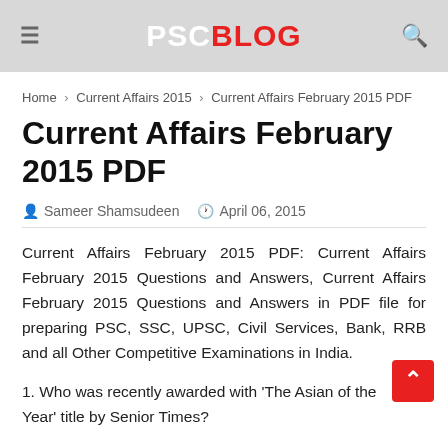PSC BLOG
Home › Current Affairs 2015 › Current Affairs February 2015 PDF
Current Affairs February 2015 PDF
Sameer Shamsudeen   April 06, 2015
Current Affairs February 2015 PDF: Current Affairs February 2015 Questions and Answers, Current Affairs February 2015 Questions and Answers in PDF file for preparing PSC, SSC, UPSC, Civil Services, Bank, RRB and all Other Competitive Examinations in India.
1. Who was recently awarded with 'The Asian of the Year' title by Senior Times?